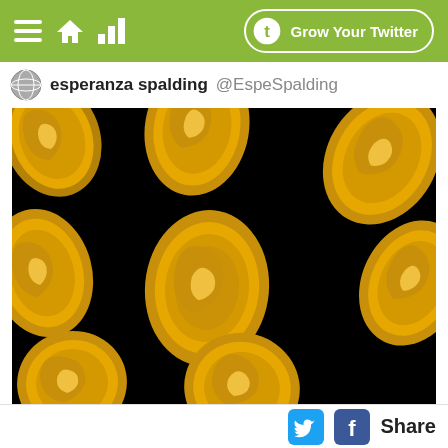Grow Your Twitter
esperanza spalding @EspeSpalding
[Figure (photo): Black background with gold/yellow paisley swirl decorative shapes arranged in a repeating pattern across the image.]
Share